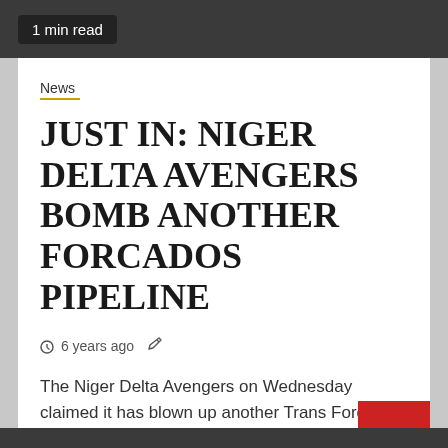1 min read
News
JUST IN: NIGER DELTA AVENGERS BOMB ANOTHER FORCADOS PIPELINE
6 years ago
The Niger Delta Avengers on Wednesday claimed it has blown up another Trans Forcados Export Pipeline in the creeks of...